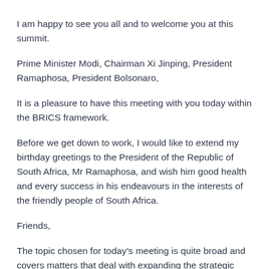I am happy to see you all and to welcome you at this summit.
Prime Minister Modi, Chairman Xi Jinping, President Ramaphosa, President Bolsonaro,
It is a pleasure to have this meeting with you today within the BRICS framework.
Before we get down to work, I would like to extend my birthday greetings to the President of the Republic of South Africa, Mr Ramaphosa, and wish him good health and every success in his endeavours in the interests of the friendly people of South Africa.
Friends,
The topic chosen for today’s meeting is quite broad and covers matters that deal with expanding the strategic partnership